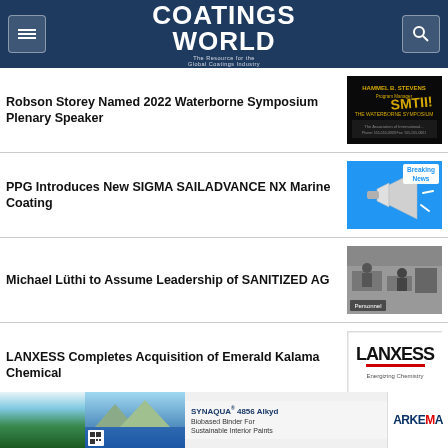Coatings World — The Resource for the Global Coatings Industry
Robson Storey Named 2022 Waterborne Symposium Plenary Speaker
[Figure (photo): Waterborne Symposium promotional image with dark background and gold text]
PPG Introduces New SIGMA SAILADVANCE NX Marine Coating
[Figure (photo): Breaking News banner with megaphone on blue background]
Michael Lüthi to Assume Leadership of SANITIZED AG
[Figure (photo): Office/laboratory personnel image in grayscale with Personnel label]
LANXESS Completes Acquisition of Emerald Kalama Chemical
[Figure (logo): LANXESS Energizing Chemistry logo on white background]
[Figure (photo): Advertisement for SYNAQUA 4856 Alkyd Biobased Binder For Sustainable Interior Paints by Arkema]